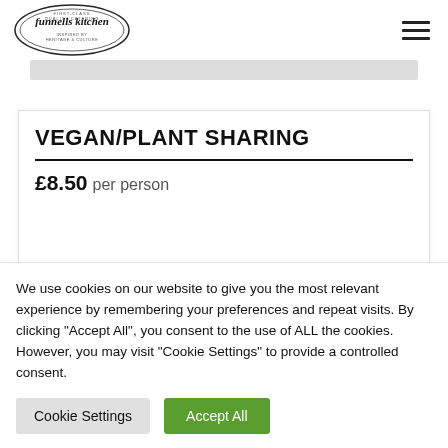funnells kitchen
VEGAN/PLANT SHARING
£8.50 per person
We use cookies on our website to give you the most relevant experience by remembering your preferences and repeat visits. By clicking "Accept All", you consent to the use of ALL the cookies. However, you may visit "Cookie Settings" to provide a controlled consent.